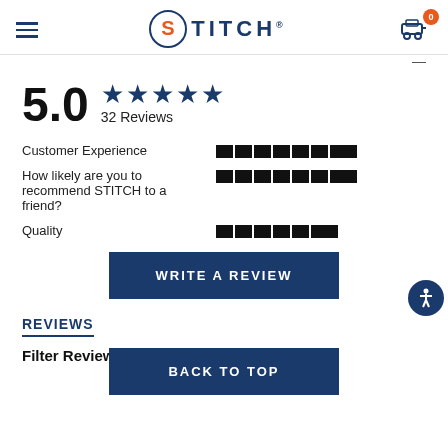STITCH
5.0 ★★★★★ 32 Reviews
Customer Experience
How likely are you to recommend STITCH to a friend?
Quality
WRITE A REVIEW
REVIEWS
BACK TO TOP
Filter Reviews